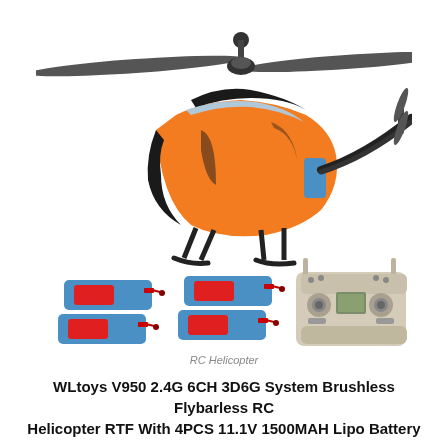[Figure (photo): RC helicopter (WLtoys V950) with orange and black body, long rotor blades, shown with 4 blue LiPo batteries and an RC transmitter controller]
RC Helicopter
WLtoys V950 2.4G 6CH 3D6G System Brushless Flybarless RC Helicopter RTF With 4PCS 11.1V 1500MAH Lipo Battery